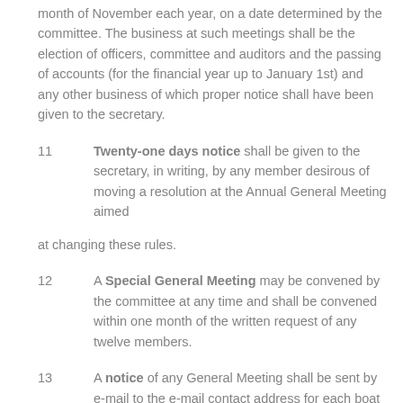month of November each year, on a date determined by the committee. The business at such meetings shall be the election of officers, committee and auditors and the passing of accounts (for the financial year up to January 1st) and any other business of which proper notice shall have been given to the secretary.
11   Twenty-one days notice shall be given to the secretary, in writing, by any member desirous of moving a resolution at the Annual General Meeting aimed

at changing these rules.
12   A Special General Meeting may be convened by the committee at any time and shall be convened within one month of the written request of any twelve members.
13   A notice of any General Meeting shall be sent by e-mail to the e-mail contact address for each boat by the Secretary at least fourteen days before such a meeting, stating it's time, place and agenda. In cases where no e-